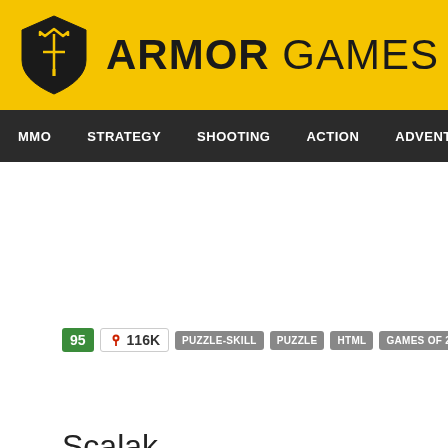[Figure (logo): Armor Games logo with yellow header bar, shield icon on left and ARMOR GAMES text in bold]
MMO  STRATEGY  SHOOTING  ACTION  ADVENTURE  P
Scalak
95  116K  PUZZLE-SKILL  PUZZLE  HTML  GAMES OF 2018  MOUSE ONL